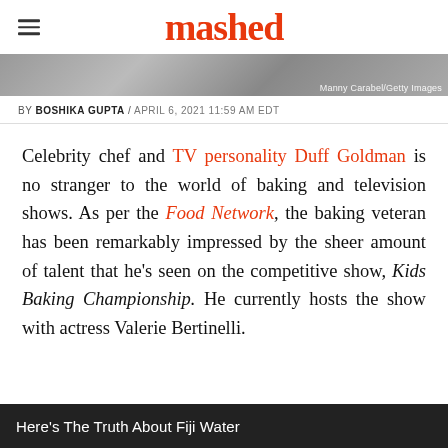mashed
[Figure (photo): Partial photo strip of a person, with photo credit: Manny Carabel/Getty Images]
BY BOSHIKA GUPTA / APRIL 6, 2021 11:59 AM EDT
Celebrity chef and TV personality Duff Goldman is no stranger to the world of baking and television shows. As per the Food Network, the baking veteran has been remarkably impressed by the sheer amount of talent that he's seen on the competitive show, Kids Baking Championship. He currently hosts the show with actress Valerie Bertinelli.
Here's The Truth About Fiji Water